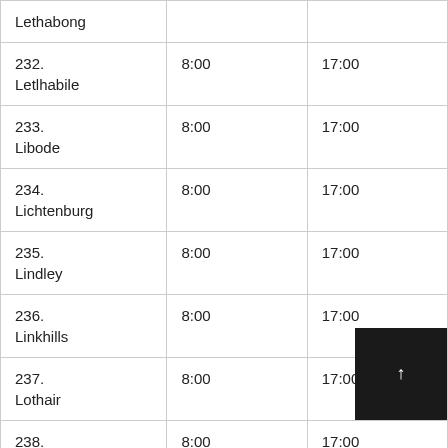| Lethabong |  |  |
| 232.
Letlhabile | 8:00 | 17:00 |
| 233.
Libode | 8:00 | 17:00 |
| 234.
Lichtenburg | 8:00 | 17:00 |
| 235.
Lindley | 8:00 | 17:00 |
| 236.
Linkhills | 8:00 | 17:00 |
| 237.
Lothair | 8:00 | 17:00 |
| 238.
Lotus Park | 8:00 | 17:00 |